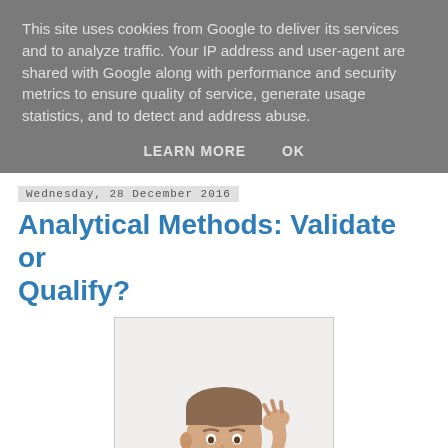This site uses cookies from Google to deliver its services and to analyze traffic. Your IP address and user-agent are shared with Google along with performance and security metrics to ensure quality of service, generate usage statistics, and to detect and address abuse.
LEARN MORE   OK
Wednesday, 28 December 2016
Analytical Methods: Validate or Qualify?
[Figure (photo): A man in a light blue shirt scratching his head with a puzzled or thoughtful expression, against a white background.]
The terms 'validate' and 'qualify' are both applied to